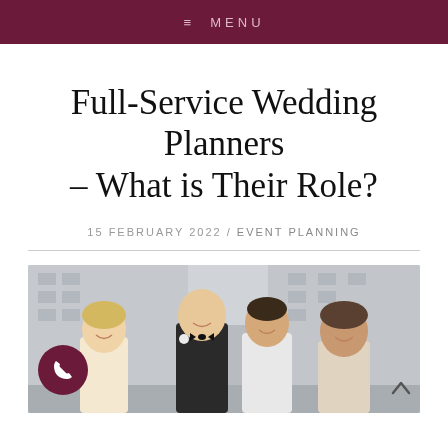≡ MENU
Full-Service Wedding Planners – What is Their Role?
15 FEBRUARY 2022 / EVENT PLANNING
[Figure (photo): Group photo of wedding party including bride, groom, and wedding planner smiling outdoors in front of a building]